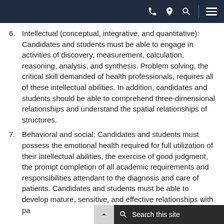[navigation bar with phone, location, search, and menu icons]
6. Intellectual (conceptual, integrative, and quantitative): Candidates and students must be able to engage in activities of discovery, measurement, calculation, reasoning, analysis, and synthesis. Problem solving, the critical skill demanded of health professionals, requires all of these intellectual abilities. In addition, candidates and students should be able to comprehend three-dimensional relationships and understand the spatial relationships of structures.
7. Behavioral and social: Candidates and students must possess the emotional health required for full utilization of their intellectual abilities, the exercise of good judgment, the prompt completion of all academic requirements and responsibilities attendant to the diagnosis and care of patients. Candidates and students must be able to develop mature, sensitive, and effective relationships with patients.
Search this site